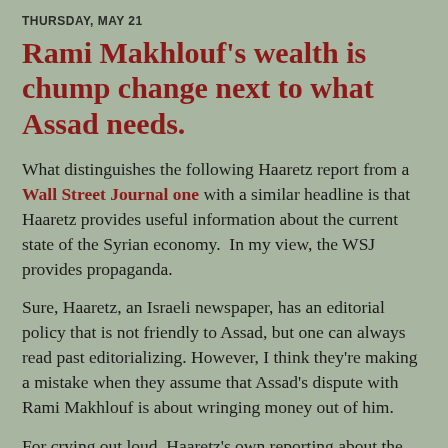THURSDAY, MAY 21
Rami Makhlouf's wealth is chump change next to what Assad needs.
What distinguishes the following Haaretz report from a Wall Street Journal one with a similar headline is that Haaretz provides useful information about the current state of the Syrian economy.  In my view, the WSJ provides propaganda.
Sure, Haaretz, an Israeli newspaper, has an editorial policy that is not friendly to Assad, but one can always read past editorializing. However, I think they're making a mistake when they assume that Assad's dispute with Rami Makhlouf is about wringing money out of him.
For crying out loud, Haaretz's own reporting about the economic disaster in Syria suggests that Rami's measly $3 billion isn't worth a family feud. Especially because the